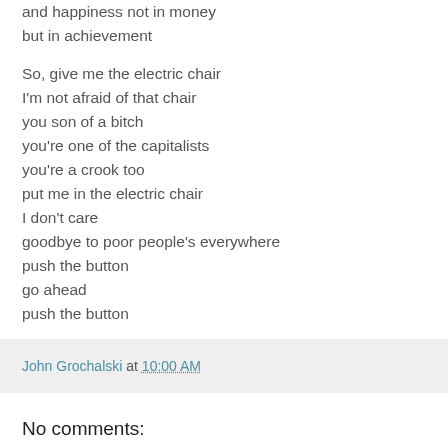and happiness not in money
but in achievement

So, give me the electric chair
I'm not afraid of that chair
you son of a bitch
you're one of the capitalists
you're a crook too
put me in the electric chair
I don't care
goodbye to poor people's everywhere
push the button
go ahead
push the button

--Jason Baldinger
John Grochalski at 10:00 AM
No comments: